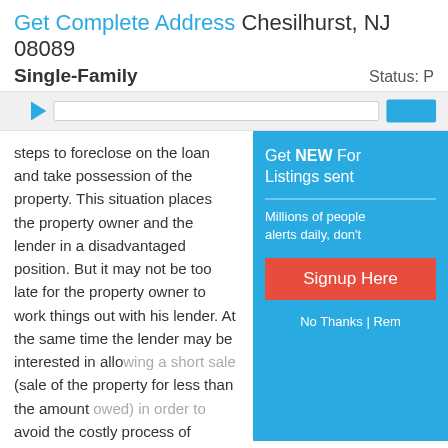Get Complete Address Chesilhurst, NJ 08089
Single-Family
Status: P
steps to foreclose on the loan and take possession of the property. This situation places the property owner and the lender in a disadvantaged position. But it may not be too late for the property owner to work things out with his lender. At the same time the lender may be interested in allowing a short sale (sale of the property for less than the amount owed) in order to avoid the costly process of foreclosure on the property and save the expense of marketing the property. That lender's loss is an opportunity for a real estate investor to come in and solve the problem for both parties.
Read more...
Credit Information Center
Want to know your FICO score?:
Click here
Are you the victim of
[Figure (infographic): Popup overlay with teal background. Title: Get NEW Foreclosure Listings sent. Subtext: Millions of people receive alerts daily, don't miss out. Red signup button saying 'Signup Here'. Link text: No Thanks | Remind]
[Figure (screenshot): Navigation bar with blue triangle icon, white search input field, and blue button on right]